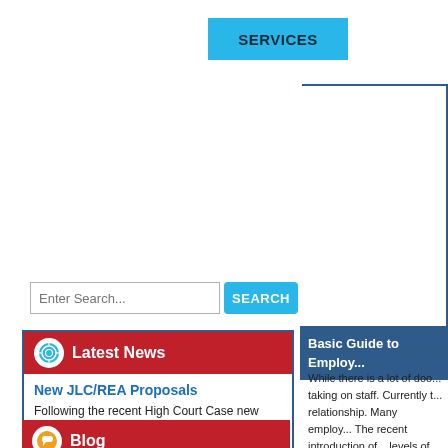SERVICES
[Figure (screenshot): Search input bar with placeholder 'Enter Search...' and a blue SEARCH button]
Latest News
New JLC/REA Proposals
Following the recent High Court Case new proposals in relation to JLC/REA's have been made by the government:
Read more...
Blog
Basic Guide to Employ...
While there is a lot of doo... taking on staff. Currently t... relationship. Many employ... The recent introduction of... levels of workplace inspe... HR we have received a lo... staff to ensure they are le... expanding their business